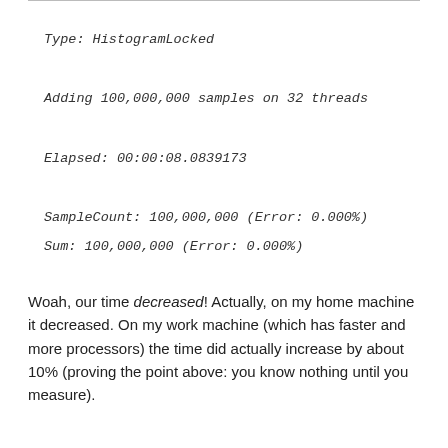Type: HistogramLocked

Adding 100,000,000 samples on 32 threads

Elapsed: 00:00:08.0839173

SampleCount: 100,000,000 (Error: 0.000%)
Sum: 100,000,000 (Error: 0.000%)
Woah, our time decreased! Actually, on my home machine it decreased. On my work machine (which has faster and more processors) the time did actually increase by about 10% (proving the point above: you know nothing until you measure).